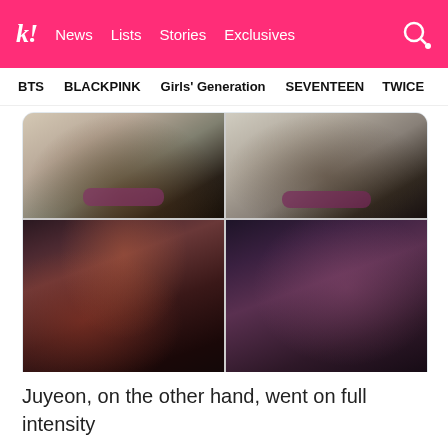k! News Lists Stories Exclusives
BTS BLACKPINK Girls' Generation SEVENTEEN TWICE
[Figure (photo): 2x2 grid of K-pop artist photos: top two images show a woman with purple lips (smiling with chin resting on hands, and posing with hands on face); bottom two images show women in dramatic dark outfits with dark nails and purple lips posing intensely]
2:20 PM · Nov 20, 2021
987  Reply  Copy link
Read 1 reply
Juyeon, on the other hand, went on full intensity